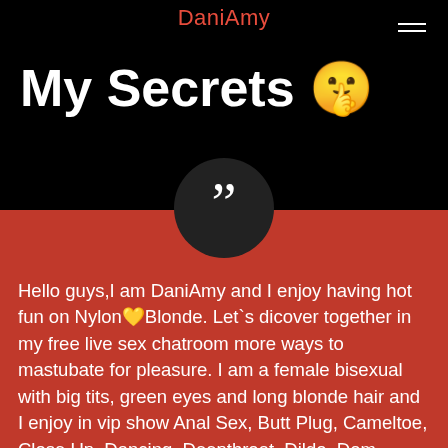DaniAmy
My Secrets 🤫
Hello guys,I am DaniAmy and I enjoy having hot fun on Nylon🧡Blonde. Let`s dicover together in my free live sex chatroom more ways to mastubate for pleasure. I am a female bisexual with big tits, green eyes and long blonde hair and I enjoy in vip show Anal Sex, Butt Plug, Cameltoe, Close Up, Dancing, Deepthroat, Dildo, Dom, Double Penetration, Fetish Toys, Fingering, Footsex, High Heel, Intim Piercing, Latex, Leather, Live Orgasm, Long Nails, Love Balls, Nylon, Oil, Piercing, Pvc, Roleplay, Shaved, Smoke Cigarette, Snapshot, Squirt, Stockings, Strap On